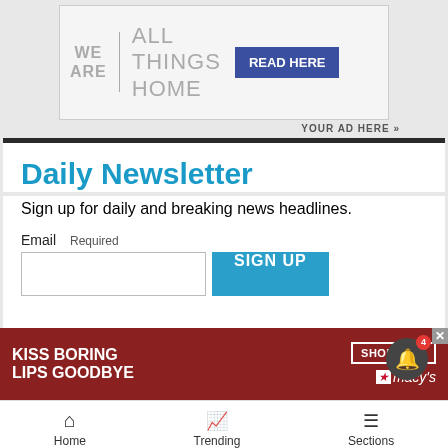[Figure (screenshot): Advertisement banner: WE ARE | ALL THINGS HOME with READ HERE button]
YOUR AD HERE »
Daily Newsletter
Sign up for daily and breaking news headlines.
Email   Required
[Figure (screenshot): Advertisement banner: KISS BORING LIPS GOODBYE with SHOP NOW and macy's logo]
Home   Trending   Sections